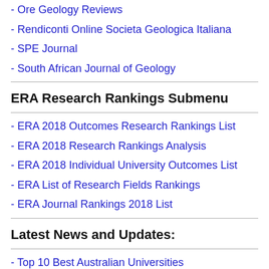- Ore Geology Reviews
- Rendiconti Online Societa Geologica Italiana
- SPE Journal
- South African Journal of Geology
ERA Research Rankings Submenu
- ERA 2018 Outcomes Research Rankings List
- ERA 2018 Research Rankings Analysis
- ERA 2018 Individual University Outcomes List
- ERA List of Research Fields Rankings
- ERA Journal Rankings 2018 List
Latest News and Updates:
- Top 10 Best Australian Universities
- Gender Balance Male-Female Ratio
- ERA 2018 Outcomes Research Rankings List